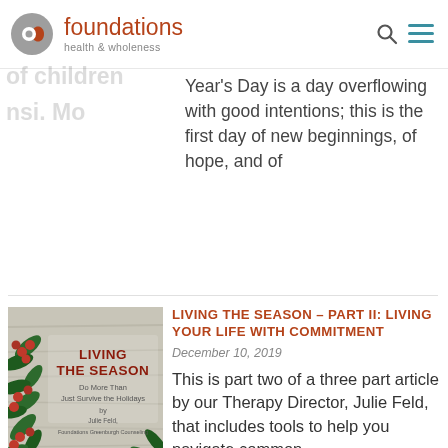foundations health & wholeness
Year's Day is a day overflowing with good intentions; this is the first day of new beginnings, of hope, and of
[Figure (photo): Book cover for 'Living the Season – Do More Than Just Survive the Holidays' by Julie Feld, Foundations Greenburgh Counseling, with holiday greenery and red berries decoration]
LIVING THE SEASON – PART II: LIVING YOUR LIFE WITH COMMITMENT
December 10, 2019
This is part two of a three part article by our Therapy Director, Julie Feld, that includes tools to help you navigate common